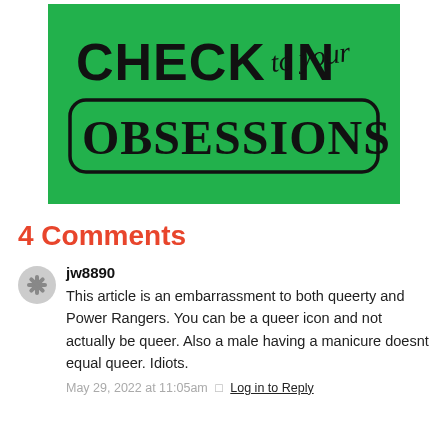[Figure (illustration): Green banner image with text 'CHECK IN to your OBSESSIONS' on a bright green background. 'CHECK IN' is in large bold black sans-serif, 'to your' in cursive script, and 'OBSESSIONS' in large bold black serif inside a rounded rectangle outline.]
4 Comments
jw8890
This article is an embarrassment to both queerty and Power Rangers. You can be a queer icon and not actually be queer. Also a male having a manicure doesnt equal queer. Idiots.
May 29, 2022 at 11:05am · Log in to Reply